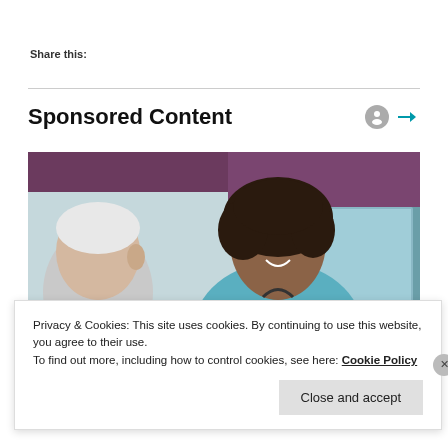Share this:
Sponsored Content
[Figure (photo): A smiling female nurse in blue scrubs with a stethoscope speaking with an elderly male patient with white hair. Indoor setting with a window and purple curtain in the background.]
Privacy & Cookies: This site uses cookies. By continuing to use this website, you agree to their use.
To find out more, including how to control cookies, see here: Cookie Policy
Close and accept